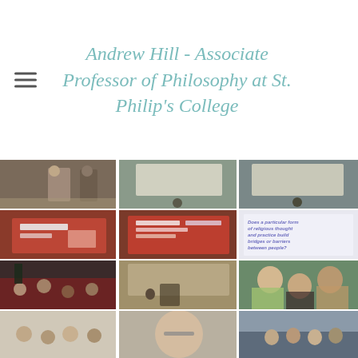Andrew Hill - Associate Professor of Philosophy at St. Philip's College
[Figure (photo): Grid of 12 photos showing Andrew Hill speaking at an event, presentation slides, audience, and group photos]